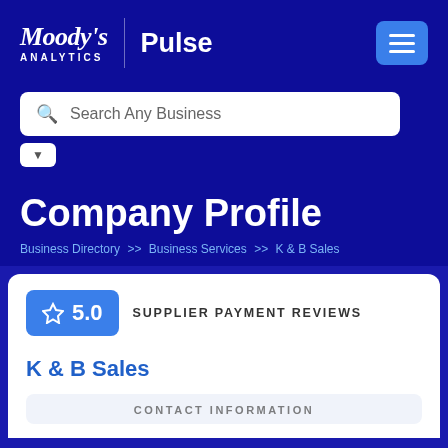Moody's Analytics | Pulse
Search Any Business
Company Profile
Business Directory >> Business Services >> K & B Sales
5.0 SUPPLIER PAYMENT REVIEWS
K & B Sales
CONTACT INFORMATION